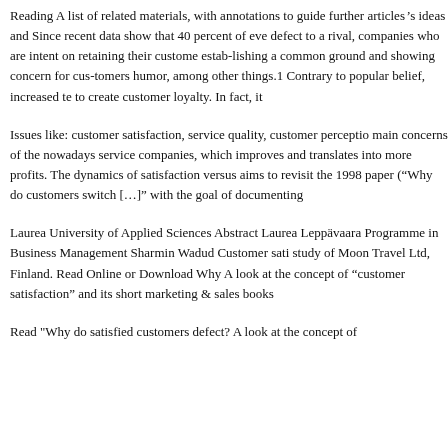Reading A list of related materials, with annotations to guide further articleвЂ™s ideas and Since recent data show that 40 percent of eve defect to a rival, companies who are intent on retaining their custome estab-lishing a common ground and showing concern for cus-tomers humor, among other things.1 Contrary to popular belief, increased te to create customer loyalty. In fact, it
Issues like: customer satisfaction, service quality, customer perceptio main concerns of the nowadays service companies, which improves and translates into more profits. The dynamics of satisfaction versus aims to revisit the 1998 paper (вЂњWhy do customers switch [вЂ¦]в with the goal of documenting
Laurea University of Applied Sciences Abstract Laurea LeppГ¤vaara Programme in Business Management Sharmin Wadud Customer sati study of Moon Travel Ltd, Finland. Read Online or Download Why A look at the concept of вЂњcustomer satisfactionвЂќ and its short marketing & sales books
Read "Why do satisfied customers defect? A look at the concept of